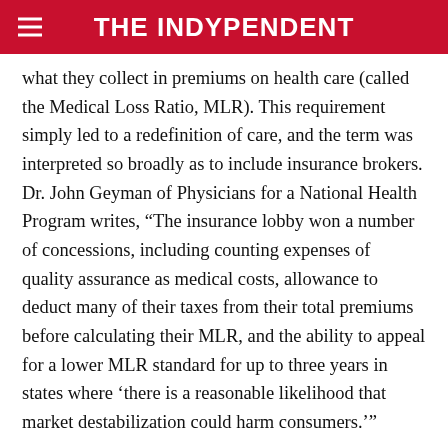THE INDYPENDENT
what they collect in premiums on health care (called the Medical Loss Ratio, MLR). This requirement simply led to a redefinition of care, and the term was interpreted so broadly as to include insurance brokers. Dr. John Geyman of Physicians for a National Health Program writes, “The insurance lobby won a number of concessions, including counting expenses of quality assurance as medical costs, allowance to deduct many of their taxes from their total premiums before calculating their MLR, and the ability to appeal for a lower MLR standard for up to three years in states where ‘there is a reasonable likelihood that market destabilization could harm consumers.’”
Perhaps one of the most egregious examples of